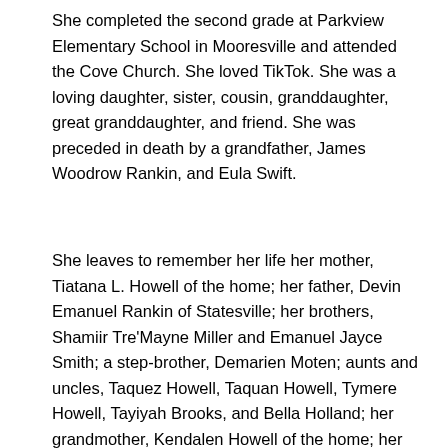She completed the second grade at Parkview Elementary School in Mooresville and attended the Cove Church. She loved TikTok. She was a loving daughter, sister, cousin, granddaughter, great granddaughter, and friend. She was preceded in death by a grandfather, James Woodrow Rankin, and Eula Swift.
She leaves to remember her life her mother, Tiatana L. Howell of the home; her father, Devin Emanuel Rankin of Statesville; her brothers, Shamiir Tre'Mayne Miller and Emanuel Jayce Smith; a step-brother, Demarien Moten; aunts and uncles, Taquez Howell, Taquan Howell, Tymere Howell, Tayiyah Brooks, and Bella Holland; her grandmother, Kendalen Howell of the home; her grandfather, Christopher Hargrove of Statesville; her grandparents, Terry Hargrove, Latitia Ann Rankin, Danny